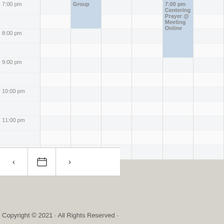| Time | Col1 | Col2 | Col3 | Col4 | Col5 | Col6 |
| --- | --- | --- | --- | --- | --- | --- |
| 7:00 pm |  | Group |  |  | 7:00 pm Centering Prayer @ Meeting Online |  |
| 8:00 pm |  |  |  |  |  |  |
| 9:00 pm |  |  |  |  |  |  |
| 10:00 pm |  |  |  |  |  |  |
| 11:00 pm |  |  |  |  |  |  |
< [calendar] >
Copyright © 2021 · All Rights Reserved ·